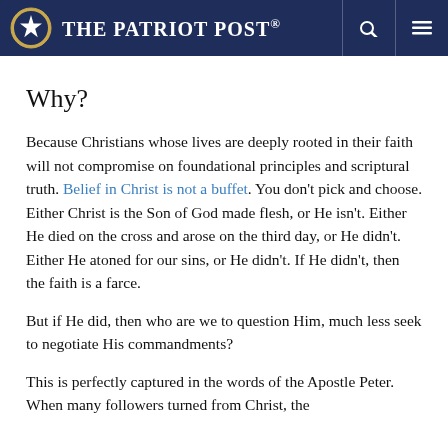The Patriot Post
Why?
Because Christians whose lives are deeply rooted in their faith will not compromise on foundational principles and scriptural truth. Belief in Christ is not a buffet. You don't pick and choose. Either Christ is the Son of God made flesh, or He isn't. Either He died on the cross and arose on the third day, or He didn't. Either He atoned for our sins, or He didn't. If He didn't, then the faith is a farce.
But if He did, then who are we to question Him, much less seek to negotiate His commandments?
This is perfectly captured in the words of the Apostle Peter. When many followers turned from Christ, the